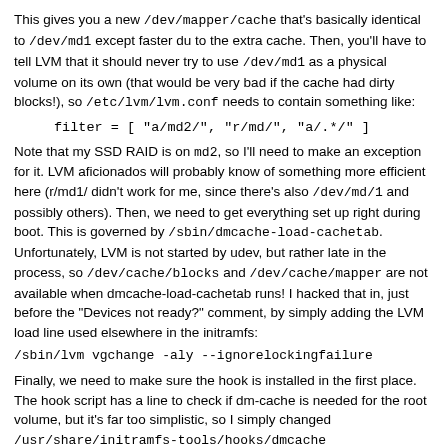This gives you a new /dev/mapper/cache that's basically identical to /dev/md1 except faster du to the extra cache. Then, you'll have to tell LVM that it should never try to use /dev/md1 as a physical volume on its own (that would be very bad if the cache had dirty blocks!), so /etc/lvm/lvm.conf needs to contain something like:
Note that my SSD RAID is on md2, so I'll need to make an exception for it. LVM aficionados will probably know of something more efficient here (r/md1/ didn't work for me, since there's also /dev/md/1 and possibly others). Then, we need to get everything set up right during boot. This is governed by /sbin/dmcache-load-cachetab. Unfortunately, LVM is not started by udev, but rather late in the process, so /dev/cache/blocks and /dev/cache/mapper are not available when dmcache-load-cachetab runs! I hacked that in, just before the "Devices not ready?" comment, by simply adding the LVM load line used elsewhere in the initramfs:
Finally, we need to make sure the hook is installed in the first place. The hook script has a line to check if dm-cache is needed for the root volume, but it's far too simplistic, so I simply changed /usr/share/initramfs-tools/hooks/dmcache